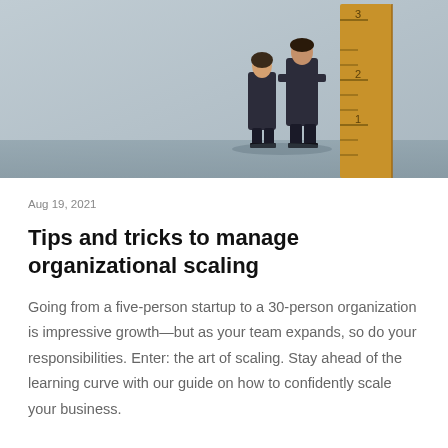[Figure (photo): Two business professionals (a woman and a man in dark suits) standing next to a large wooden ruler/measuring stick against a light gray concrete wall background.]
Aug 19, 2021
Tips and tricks to manage organizational scaling
Going from a five-person startup to a 30-person organization is impressive growth—but as your team expands, so do your responsibilities. Enter: the art of scaling. Stay ahead of the learning curve with our guide on how to confidently scale your business.